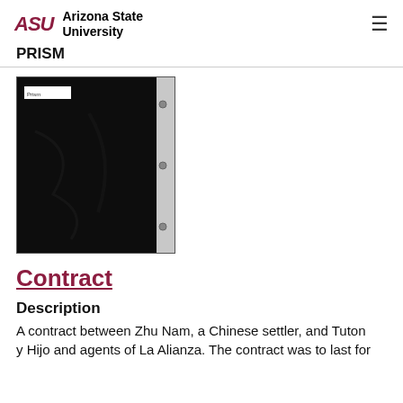ASU Arizona State University  PRISM
[Figure (photo): A dark/black scanned document page in a plastic sheet protector with binder holes on the right side and a small white label in the top-left corner.]
Contract
Description
A contract between Zhu Nam, a Chinese settler, and Tutony Hijo and agents of La Alianza. The contract was to last for